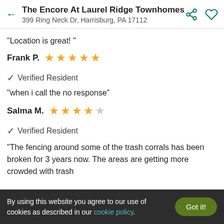The Encore At Laurel Ridge Townhomes
399 Ring Neck Dr, Harrisburg, PA 17112
"Location is great! "
Frank P.  ★★★★★
✔ Verified Resident
"when i call the no response"
Salma M.  ★★★★☆
✔ Verified Resident
"The fencing around some of the trash corrals has been broken for 3 years now. The areas are getting more crowded with trash
By using this website you agree to our use of cookies as described in our cookie policy.